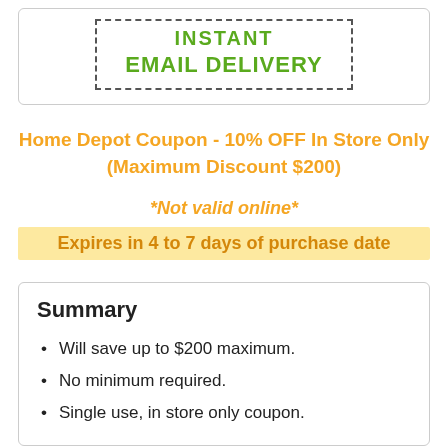[Figure (infographic): Dashed border box with green text reading INSTANT EMAIL DELIVERY]
Home Depot Coupon - 10% OFF In Store Only (Maximum Discount $200)
*Not valid online*
Expires in 4 to 7 days of purchase date
Summary
Will save up to $200 maximum.
No minimum required.
Single use, in store only coupon.